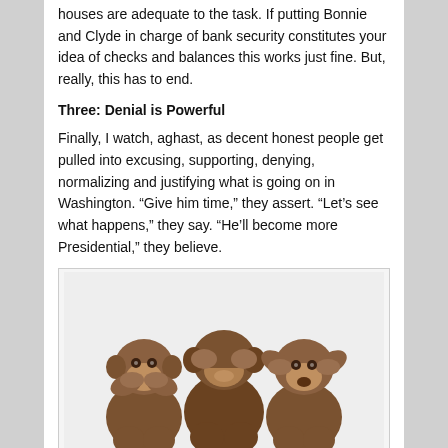houses are adequate to the task. If putting Bonnie and Clyde in charge of bank security constitutes your idea of checks and balances this works just fine. But, really, this has to end.
Three: Denial is Powerful
Finally, I watch, aghast, as decent honest people get pulled into excusing, supporting, denying, normalizing and justifying what is going on in Washington. “Give him time,” they assert. “Let’s see what happens,” they say. “He’ll become more Presidential,” they believe.
[Figure (photo): Three wise monkey statues in bronze: see no evil (covering mouth), hear no evil (covering eyes), speak no evil (covering ears), seated side by side.]